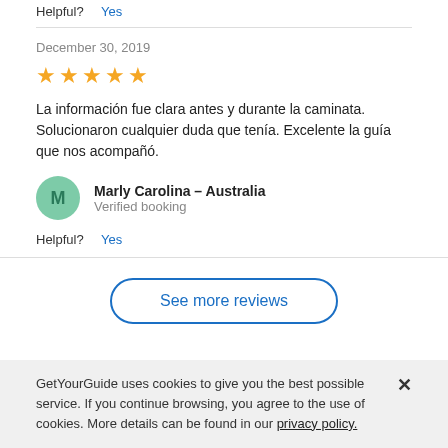Helpful?  Yes
December 30, 2019
★★★★★ (4.5 stars shown)
La información fue clara antes y durante la caminata. Solucionaron cualquier duda que tenía. Excelente la guía que nos acompañó.
Marly Carolina — Australia
Verified booking
Helpful?  Yes
See more reviews
GetYourGuide uses cookies to give you the best possible service. If you continue browsing, you agree to the use of cookies. More details can be found in our privacy policy.